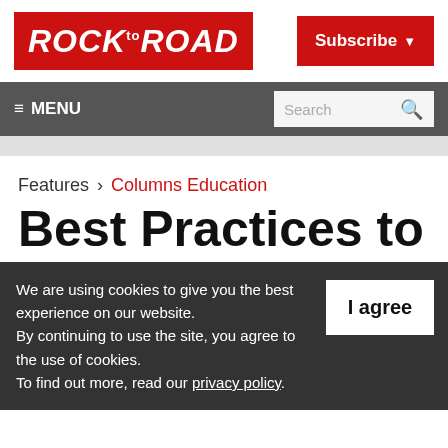ROCK to ROAD
Subscribe
≡ MENU    Search
Features > Columns Education
Best Practices to
We are using cookies to give you the best experience on our website. By continuing to use the site, you agree to the use of cookies. To find out more, read our privacy policy.
I agree